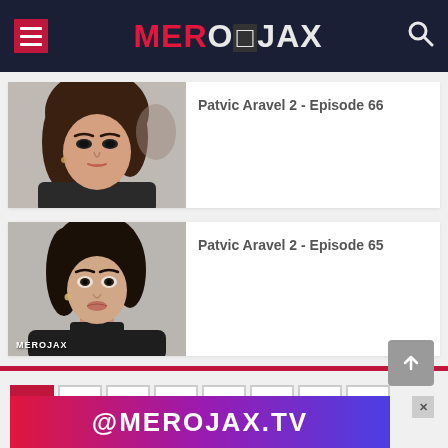MEROJAX
[Figure (photo): Thumbnail of a woman with dark wavy hair looking intensely at camera, outdoor background]
Patvic Aravel 2 - Episode 66
[Figure (photo): Thumbnail of a young woman with dark hair wearing black turtleneck, looking surprised, MEROJAX watermark at bottom left]
Patvic Aravel 2 - Episode 65
1
2
3
4
5
6
7
»
End
@MEROJAX.TV